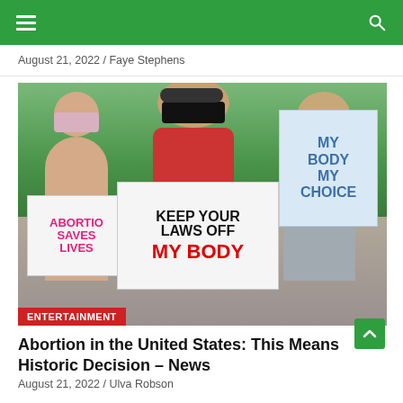Navigation bar with hamburger menu and search icon
August 21, 2022 / Faye Stephens
[Figure (photo): Three young women wearing face masks holding protest signs at an abortion rights rally. Signs read: 'ABORTION SAVES LIVES', 'KEEP YOUR LAWS OFF MY BODY', and 'MY BODY MY CHOICE'. An 'ENTERTAINMENT' category tag appears at the bottom left of the image.]
Abortion in the United States: This Means Historic Decision – News
August 21, 2022 / Ulva Robson